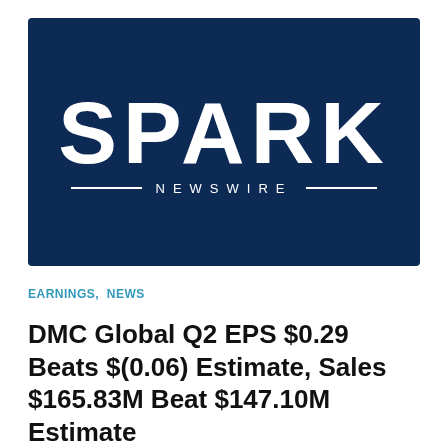[Figure (logo): Spark Newswire logo — white bold SPARK text above a horizontal rule with NEWSWIRE lettering, on a dark navy blue background]
EARNINGS, NEWS
DMC Global Q2 EPS $0.29 Beats $(0.06) Estimate, Sales $165.83M Beat $147.10M Estimate